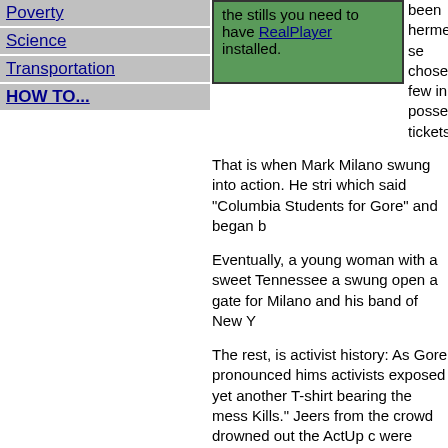Poverty
Science
Transportation
HOW TO...
the stills you need to have RealPlayer installed.
been hermetically se chosen few in posses tickets.
That is when Mark Milano swung into action. He stri which said "Columbia Students for Gore" and began b
Eventually, a young woman with a sweet Tennessee a swung open a gate for Milano and his band of New Y
The rest, is activist history: As Gore pronounced hims activists exposed yet another T-shirt bearing the mess Kills." Jeers from the crowd drowned out the ActUp c were roughly hustled out the door. One of Milano's co fat lip while another had a tooth chipped.
"We were just a few feet away from him and in front Milano recalls. "You could see on the tape he is fluste does not want this happening."
Indeed, that clip was played on virtually every networ night. Emboldened by their success, ActUp hit Gore a Hampshire and one more time in New York City.
The activists were alleging that Gore was fronting for to keep South Africa from exercising trade pressures th